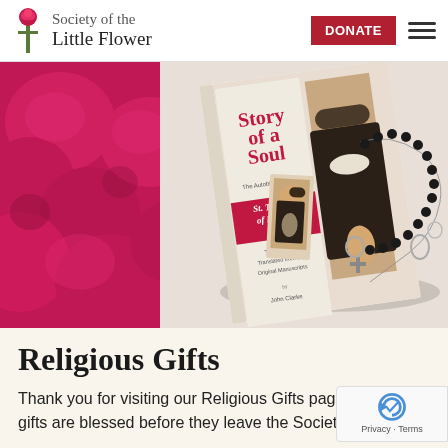Society of the Little Flower
[Figure (photo): Hero image showing a book titled 'Story of a Soul: The Autobiography of St. Thérèse of Lisieux' with a rosary draped over it and a small holy card, set against pink roses on the left side and a light background.]
Religious Gifts
Thank you for visiting our Religious Gifts page. All gifts are blessed before they leave the Society. All